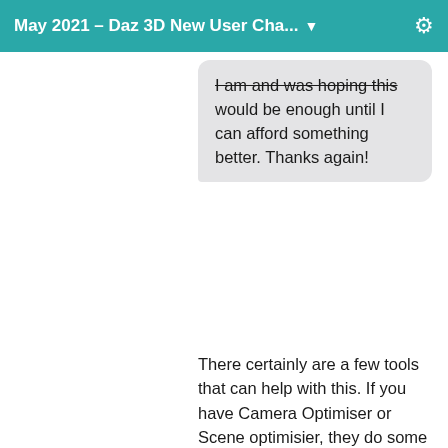May 2021 – Daz 3D New User Cha... ▼
I am and was hoping this would be enough until I can afford something better. Thanks again!
There certainly are a few tools that can help with this. If you have Camera Optimiser or Scene optimisier, they do some of the legwork for you in removing items that are not seen. The former hides items not needed and the latter can tweak the items to make them less painful to render (I use this when using Ultra Scenery sometimes!) Lots of